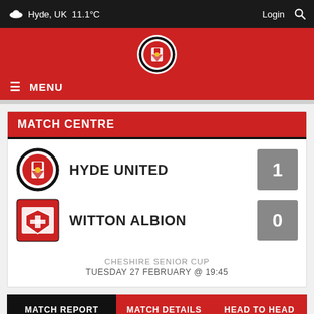Hyde, UK  11.1°C  Login
[Figure (logo): Hyde United FC club crest logo in circular format, red and black]
≡ MENU
MATCH CENTRE
HYDE UNITED  1
WITTON ALBION  0
CHESHIRE SENIOR CUP
TUESDAY 27 FEBRUARY @ 19:45
MATCH REPORT  |  MATCH DETAILS  |  HEAD TO HEAD